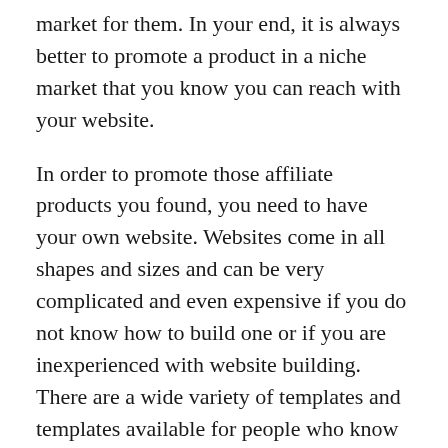market for them. In your end, it is always better to promote a product in a niche market that you know you can reach with your website.
In order to promote those affiliate products you found, you need to have your own website. Websites come in all shapes and sizes and can be very complicated and even expensive if you do not know how to build one or if you are inexperienced with website building. There are a wide variety of templates and templates available for people who know how to make their sites look great. However, it is very important to not stuff your website with a bunch of banners and links. This can potentially confuse and irritate your visitors, ⁇⁇⁇⁇many of whom